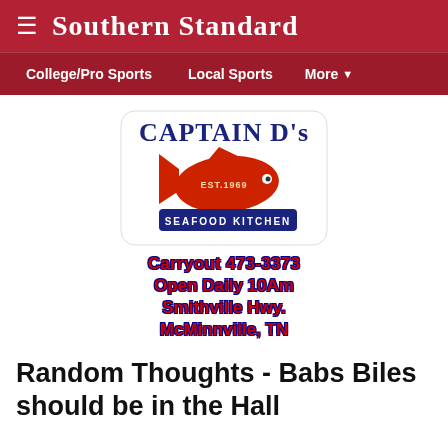Southern Standard
College/Pro Sports   Local Sports   More
[Figure (logo): Captain D's Seafood Kitchen logo with red fish and EST. 1969 text]
Carryout 473-3373
Open Daily 10Am
Smithville Hwy.
McMinnville, TN
Random Thoughts - Babs Biles should be in the Hall